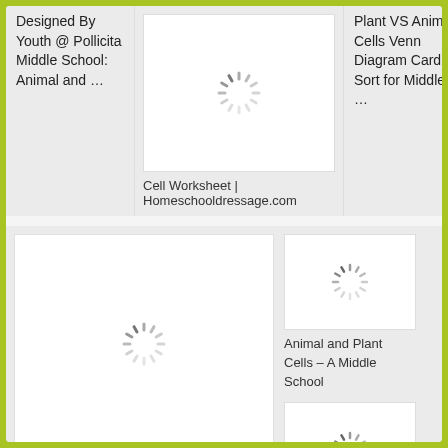Designed By Youth @ Pollicita Middle School: Animal and …
[Figure (photo): Loading spinner / placeholder image for a cell worksheet]
Cell Worksheet | Homeschooldressage.com
Plant VS Animal Cells Venn Diagram Card Sort for Middle …
[Figure (photo): Large loading spinner placeholder image]
[Figure (photo): Small loading spinner placeholder image - Animal and Plant Cells]
Animal and Plant Cells – A Middle School
[Figure (photo): Small loading spinner placeholder image - Plant Cell Coloring Diagram]
Plant Cell Coloring Diagram | Coloring Pages |